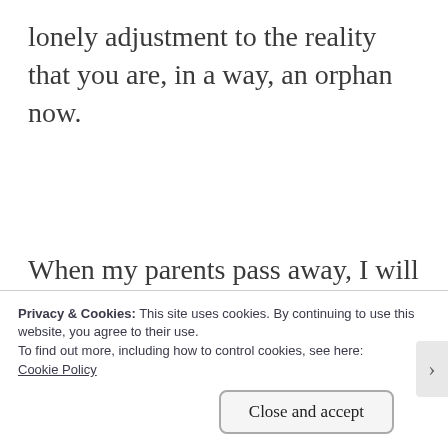lonely adjustment to the reality that you are, in a way, an orphan now.
When my parents pass away, I will get a call, or an email, from some relative. I will be asked if I will attend the funeral, but I will not, because I have already done my grieving. I have grieved the parts of that relationship that were good. I
Privacy & Cookies: This site uses cookies. By continuing to use this website, you agree to their use.
To find out more, including how to control cookies, see here:
Cookie Policy
Close and accept